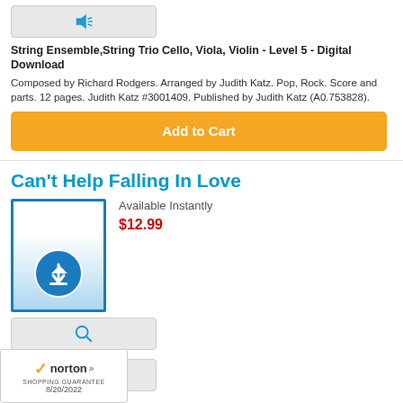[Figure (screenshot): Gray button with blue speaker/sound icon]
String Ensemble,String Trio Cello, Viola, Violin - Level 5 - Digital Download
Composed by Richard Rodgers. Arranged by Judith Katz. Pop, Rock. Score and parts. 12 pages. Judith Katz #3001409. Published by Judith Katz (A0.753828).
[Figure (screenshot): Orange Add to Cart button]
Can't Help Falling In Love
[Figure (screenshot): Digital download product thumbnail image with blue border and download icon]
Available Instantly
$12.99
[Figure (screenshot): Gray button with magnifying glass search icon]
[Figure (screenshot): Gray button with blue speaker/sound icon]
ole,String Trio - Level 4 - Digital Download
y. By George David Weiss, Luigi Creatore, and Hugo Peretti.
idith Katz. Jazz. Score and parts. 11 pages. Judith Katz
[Figure (logo): Norton Shopping Guarantee badge with checkmark logo and date 8/20/2022]